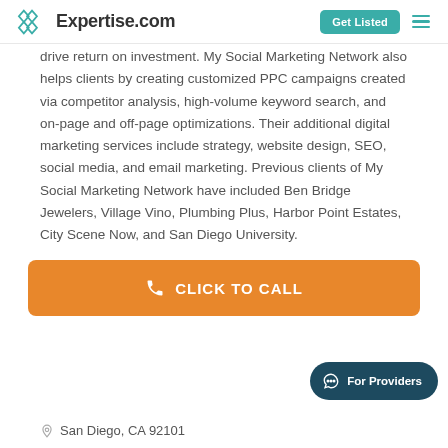Expertise.com | Get Listed
drive return on investment. My Social Marketing Network also helps clients by creating customized PPC campaigns created via competitor analysis, high-volume keyword search, and on-page and off-page optimizations. Their additional digital marketing services include strategy, website design, SEO, social media, and email marketing. Previous clients of My Social Marketing Network have included Ben Bridge Jewelers, Village Vino, Plumbing Plus, Harbor Point Estates, City Scene Now, and San Diego University.
CLICK TO CALL
For Providers
San Diego, CA 92101